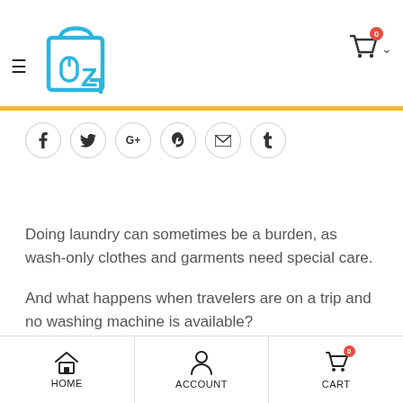[Figure (logo): eZ shopping logo with blue bag and mouse icon, Z letter in center]
[Figure (infographic): Social share buttons: Facebook, Twitter, Google+, Pinterest, Email, Tumblr]
Doing laundry can sometimes be a burden, as wash-only clothes and garments need special care.
And what happens when travelers are on a trip and no washing machine is available?
No worries! This Mini Portable Washing Machine
[Figure (infographic): Bottom navigation bar with Home, Account, Cart icons]